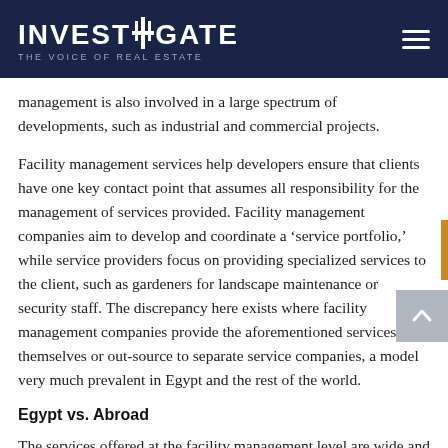INVESTIGATE THE VOICE OF REAL ESTATE
management is also involved in a large spectrum of developments, such as industrial and commercial projects.
Facility management services help developers ensure that clients have one key contact point that assumes all responsibility for the management of services provided. Facility management companies aim to develop and coordinate a ‘service portfolio,’ while service providers focus on providing specialized services to the client, such as gardeners for landscape maintenance or security staff. The discrepancy here exists where facility management companies provide the aforementioned services themselves or out-source to separate service companies, a model very much prevalent in Egypt and the rest of the world.
Egypt vs. Abroad
The services offered at the facility management level are wide and varied, and those offered in Egypt do not very